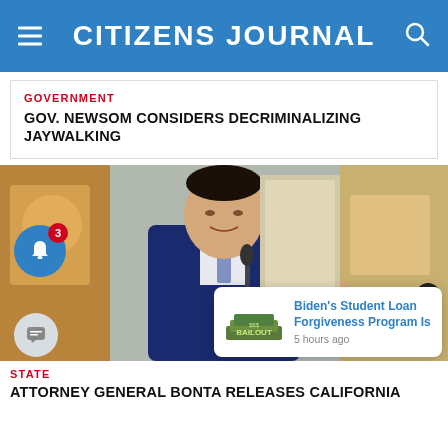CITIZENS JOURNAL
GOVERNMENT
GOV. NEWSOM CONSIDERS DECRIMINALIZING JAYWALKING
[Figure (photo): Man in dark blue suit speaking at a podium with a microphone, gesturing with right hand, colorful artwork visible in background]
STATE
ATTORNEY GENERAL BONTA RELEASES CALIFORNIA